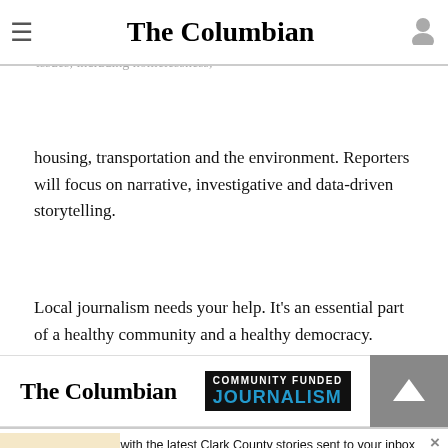The Columbian
Your tax-deductible donation to The Columbian finances local journalism and will help contribute to better local reporting on key issues, including homelessness, housing, transportation and the environment. Reporters will focus on narrative, investigative and data-driven storytelling.
Local journalism needs your help. It's an essential part of a healthy community and a healthy democracy.
[Figure (logo): The Columbian newspaper logo in bold serif font]
[Figure (logo): Community Funded Journalism badge with blue text on dark background]
Stay up to date with the latest Clark County stories sent to your inbox every week. Sign up for Columbian newsletters today.
[Figure (other): Sign up button in blue with arrow]